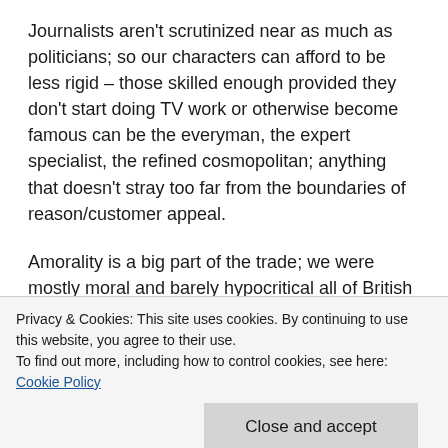Journalists aren't scrutinized near as much as politicians; so our characters can afford to be less rigid – those skilled enough provided they don't start doing TV work or otherwise become famous can be the everyman, the expert specialist, the refined cosmopolitan; anything that doesn't stray too far from the boundaries of reason/customer appeal.
Amorality is a big part of the trade; we were mostly moral and barely hypocritical all of British journalism would be unrecognisable – because we're human though it is what it is. My point is that you can still put on pretences and be this kind of 'quality' hack; a character cut out of the cereal box of your
Privacy & Cookies: This site uses cookies. By continuing to use this website, you agree to their use.
To find out more, including how to control cookies, see here: Cookie Policy
Close and accept